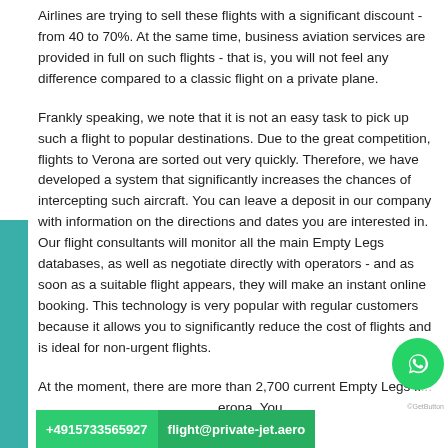Airlines are trying to sell these flights with a significant discount - from 40 to 70%. At the same time, business aviation services are provided in full on such flights - that is, you will not feel any difference compared to a classic flight on a private plane.
Frankly speaking, we note that it is not an easy task to pick up such a flight to popular destinations. Due to the great competition, flights to Verona are sorted out very quickly. Therefore, we have developed a system that significantly increases the chances of intercepting such aircraft. You can leave a deposit in our company with information on the directions and dates you are interested in. Our flight consultants will monitor all the main Empty Legs databases, as well as negotiate directly with operators - and as soon as a suitable flight appears, they will make an instant online booking. This technology is very popular with regular customers because it allows you to significantly reduce the cost of flights and is ideal for non-urgent flights.
At the moment, there are more than 2,700 current Empty Legs fl... erona. You